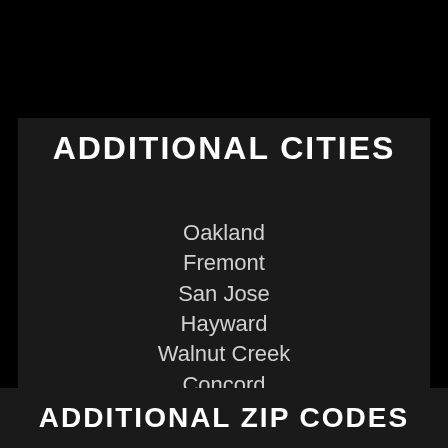ADDITIONAL CITIES
Oakland
Fremont
San Jose
Hayward
Walnut Creek
Concord
San Mateo
San Francisco
Sunnyvale
San Ramon
ADDITIONAL ZIP CODES